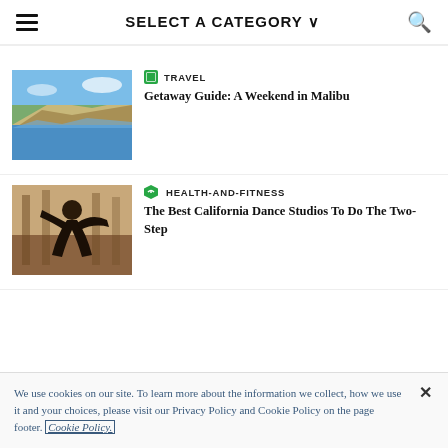SELECT A CATEGORY
[Figure (photo): Coastal cliffs and beach in Malibu, California]
TRAVEL
Getaway Guide: A Weekend in Malibu
[Figure (photo): People dancing at a dance studio]
HEALTH-AND-FITNESS
The Best California Dance Studios To Do The Two-Step
[Figure (photo): Sky with clouds - travel article thumbnail]
TRAVEL
We use cookies on our site. To learn more about the information we collect, how we use it and your choices, please visit our Privacy Policy and Cookie Policy on the page footer. Cookie Policy.